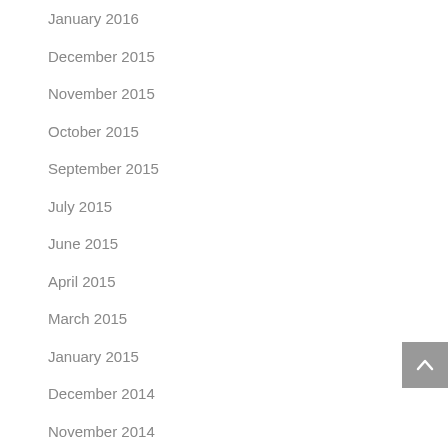January 2016
December 2015
November 2015
October 2015
September 2015
July 2015
June 2015
April 2015
March 2015
January 2015
December 2014
November 2014
October 2014
August 2014
July 2014